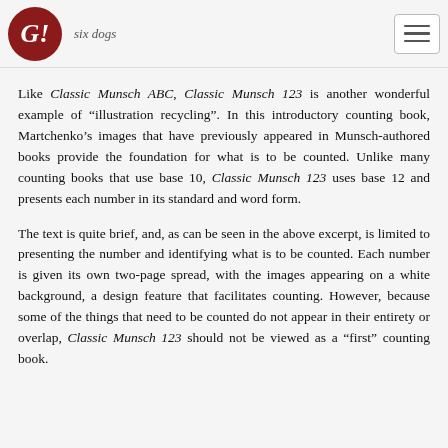six dogs
Like Classic Munsch ABC, Classic Munsch 123 is another wonderful example of “illustration recycling”. In this introductory counting book, Martchenko’s images that have previously appeared in Munsch-authored books provide the foundation for what is to be counted. Unlike many counting books that use base 10, Classic Munsch 123 uses base 12 and presents each number in its standard and word form.
The text is quite brief, and, as can be seen in the above excerpt, is limited to presenting the number and identifying what is to be counted. Each number is given its own two-page spread, with the images appearing on a white background, a design feature that facilitates counting. However, because some of the things that need to be counted do not appear in their entirety or overlap, Classic Munsch 123 should not be viewed as a “first” counting book.